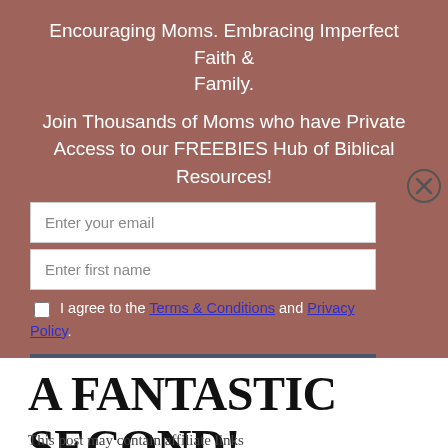Encouraging Moms. Embracing Imperfect Faith & Family.
Join Thousands of Moms who have Private Access to our FREEBIES Hub of Biblical Resources!
Enter your email
Enter first name
I agree to the Terms & Conditions and Privacy Policy.
Join Now!
A FANTASTIC SECOND!
This post may contain affiliate links